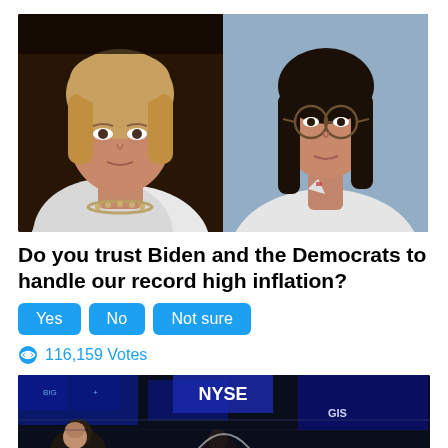[Figure (photo): Two women side by side: left is an older woman with blonde hair wearing a white blazer and statement necklace; right is a younger woman with long dark hair wearing glasses and a white blazer. Stock photo collage.]
Do you trust Biden and the Democrats to handle our record high inflation?
Yes  No  Not sure
116,159 Votes
[Figure (photo): NYSE trading floor scene with people and electronic displays visible, partially cropped at bottom of page.]